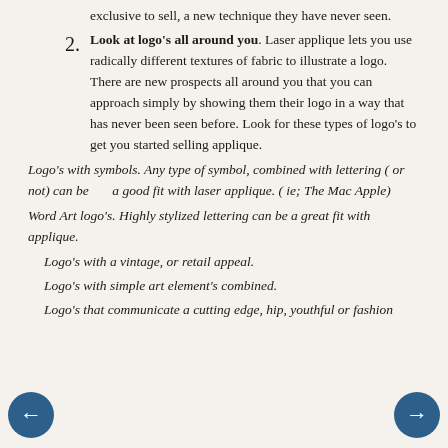exclusive to sell, a new technique they have never seen.
Look at logo’s all around you. Laser applique lets you use radically different textures of fabric to illustrate a logo. There are new prospects all around you that you can approach simply by showing them their logo in a way that has never been seen before. Look for these types of logo’s to get you started selling applique.
Logo’s with symbols. Any type of symbol, combined with lettering ( or not) can be      a good fit with laser applique. ( ie; The Mac Apple)
Word Art logo’s. Highly stylized lettering can be a great fit with applique.
Logo’s with a vintage, or retail appeal.
Logo’s with simple art element’s combined.
Logo’s that communicate a cutting edge, hip, youthful or fashion